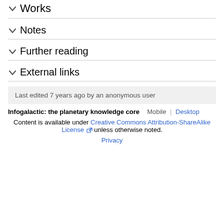Works
Notes
Further reading
External links
Last edited 7 years ago by an anonymous user
Infogalactic: the planetary knowledge core   Mobile | Desktop
Content is available under Creative Commons Attribution-ShareAlike License unless otherwise noted.
Privacy